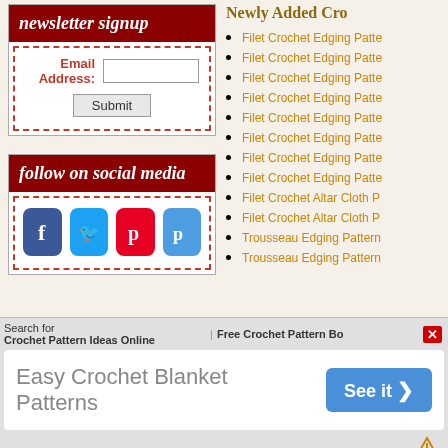newsletter signup
[Figure (other): Newsletter signup form with email address field and submit button]
[Figure (other): Follow on social media box with Facebook, Twitter, Pinterest, and Pu icons]
Newly Added Cro
Filet Crochet Edging Patte...
Filet Crochet Edging Patte...
Filet Crochet Edging Patte...
Filet Crochet Edging Patte...
Filet Crochet Edging Patte...
Filet Crochet Edging Patte...
Filet Crochet Edging Patte...
Filet Crochet Edging Patte...
Filet Crochet Altar Cloth P...
Filet Crochet Altar Cloth P...
Trousseau Edging Pattern...
Trousseau Edging Pattern...
Search for Crochet Pattern Ideas Online
Free Crochet Pattern Bo...
Easy Crochet Blanket Patterns
See it